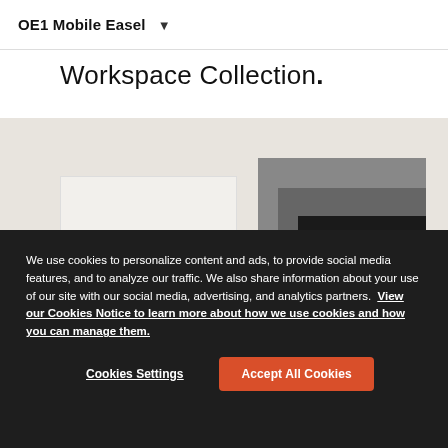OE1 Mobile Easel ▾
Workspace Collection.
[Figure (photo): Product photo showing mobile easel boards in white, gray, and black against a warm beige background]
We use cookies to personalize content and ads, to provide social media features, and to analyze our traffic. We also share information about your use of our site with our social media, advertising, and analytics partners. View our Cookies Notice to learn more about how we use cookies and how you can manage them.
Cookies Settings
Accept All Cookies